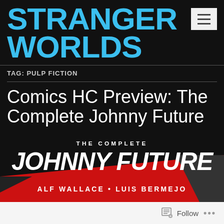STRANGER WORLDS
TAG: PULP FICTION
Comics HC Preview: The Complete Johnny Future
[Figure (illustration): Book cover for 'The Complete Johnny Future' by Alf Wallace and Luis Bermejo. Black background with large white italic text 'JOHNNY FUTURE', smaller text 'THE COMPLETE' above it, and red diagonal banner below with 'ALF WALLACE • LUIS BERMEJO' in white text.]
Follow …